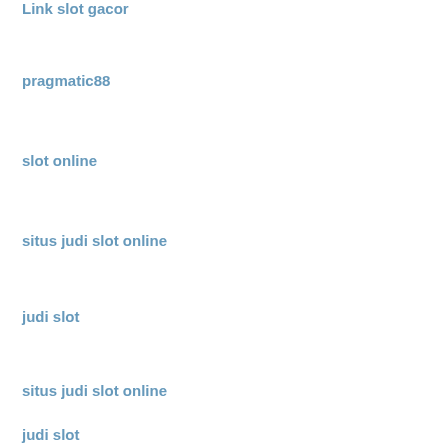Link slot gacor
pragmatic88
slot online
situs judi slot online
judi slot
situs judi slot online
judi slot